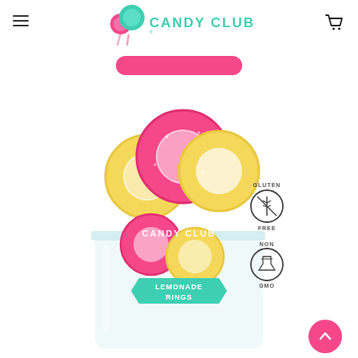CANDY CLUB
[Figure (photo): Candy Club product jar of Lemonade Rings gummy candy with pink and yellow sugary ring candies overflowing the jar. Labels indicate Gluten Free and Non GMO.]
[Figure (logo): Candy Club logo with lollipop icon and teal CANDY CLUB text]